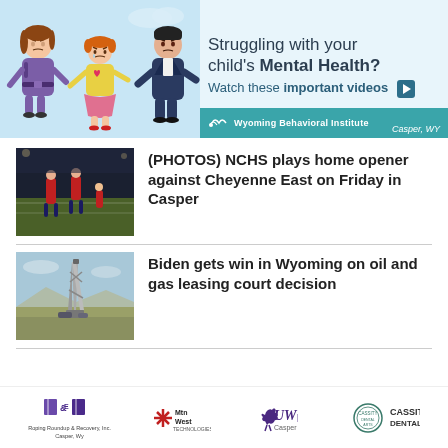[Figure (illustration): Banner advertisement for Wyoming Behavioral Institute featuring cartoon family (mother, child, father) looking sad, with text 'Struggling with your child's Mental Health? Watch these important videos' and WBI logo bar at bottom.]
[Figure (photo): Football players on a field during a game, night or evening lighting]
(PHOTOS) NCHS plays home opener against Cheyenne East on Friday in Casper
[Figure (photo): Oil drilling rig in a field with blue sky]
Biden gets win in Wyoming on oil and gas leasing court decision
[Figure (logo): Roping Roundup & Recovery Inc., Casper, Wy logo]
[Figure (logo): Mtn West Technologies logo]
[Figure (logo): UW Casper logo]
[Figure (logo): Cassity Dental Arts logo]